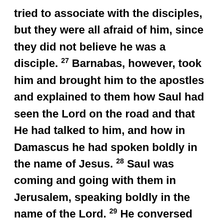tried to associate with the disciples, but they were all afraid of him, since they did not believe he was a disciple. 27 Barnabas, however, took him and brought him to the apostles and explained to them how Saul had seen the Lord on the road and that He had talked to him, and how in Damascus he had spoken boldly in the name of Jesus. 28 Saul was coming and going with them in Jerusalem, speaking boldly in the name of the Lord. 29 He conversed and debated with the Hellenistic Jews, but they attempted to kill him. 30 When the brothers found out, they took him down to Caesarea and sent him off to Tarsus. 31 So the